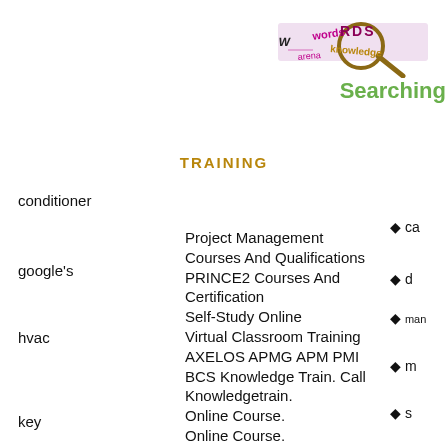[Figure (logo): Words searching logo with decorative text and magnifying glass graphic in pink/magenta and gold, with 'Searching' in green below]
TRAINING
conditioner
google's
hvac
key
keywords
marketing
Project Management Courses And Qualifications PRINCE2 Courses And Certification Self-Study Online Virtual Classroom Training AXELOS APMG APM PMI BCS Knowledge Train. Call Knowledgetrain. Online Course. Online Course. On-site Training
♦ ca
♦ d
♦ man
♦ m
♦ s
♦ s
♦ s
♦ te